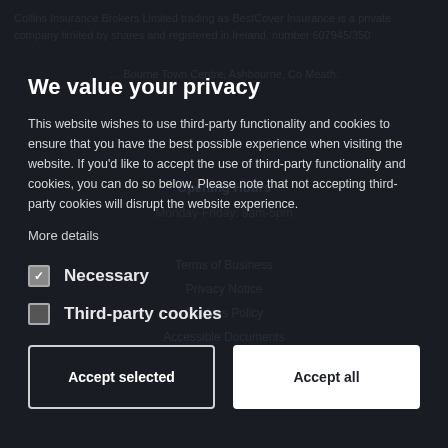Collins Insurance Brokers Limited trading as BestCover Insurance is a private company limited by shares and registered in Ireland, number 607945/350 ... Bourne Town Centre, Ashbourne, Co Meath.
We value your privacy
This website wishes to use third-party functionality and cookies to ensure that you have the best possible experience when visiting the website. If you'd like to accept the use of third-party functionality and cookies, you can do so below. Please note that not accepting third-party cookies will disrupt the website experience.
More details
Necessary
Third-party cookies
Accept selected
Accept all